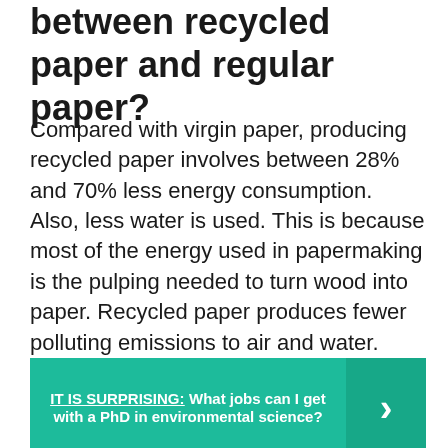between recycled paper and regular paper?
Compared with virgin paper, producing recycled paper involves between 28% and 70% less energy consumption. Also, less water is used. This is because most of the energy used in papermaking is the pulping needed to turn wood into paper. Recycled paper produces fewer polluting emissions to air and water.
IT IS SURPRISING: What jobs can I get with a PhD in environmental science?